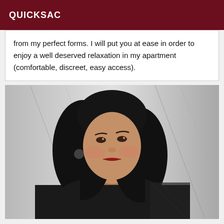QUICKSAC
from my perfect forms. I will put you at ease in order to enjoy a well deserved relaxation in my apartment (comfortable, discreet, easy access).
[Figure (photo): Portrait photo of a dark-haired woman in a black lace outfit, posed against a light textured background]